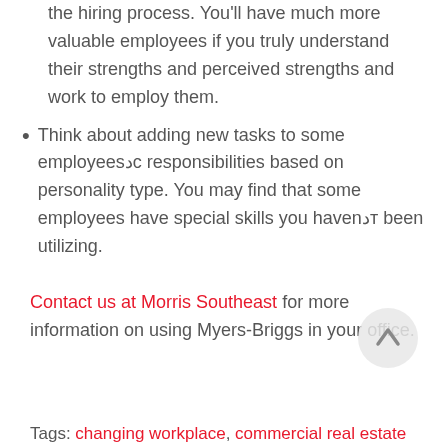the hiring process. You'll have much more valuable employees if you truly understand their strengths and perceived strengths and work to employ them.
Think about adding new tasks to some employees’ responsibilities based on personality type. You may find that some employees have special skills you haven’t been utilizing.
Contact us at Morris Southeast for more information on using Myers-Briggs in your office.
Tags: changing workplace, commercial real estate